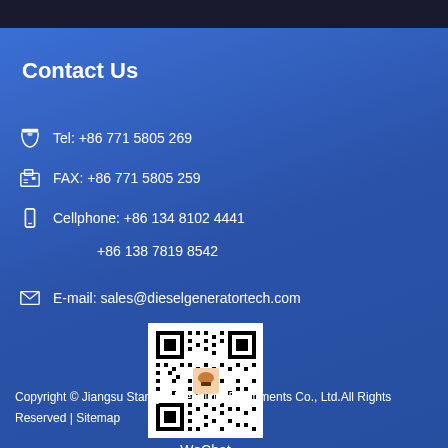Contact Us
Tel: +86 771 5805 269
FAX: +86 771 5805 259
Cellphone: +86 134 8102 4441
+86 138 7819 8542
E-mail: sales@dieselgeneratortech.com
[Figure (other): WeChat QR code for Jiangsu Starlight Electricity Equipments Co., Ltd.]
WeChat
Copyright © Jiangsu Starlight Electricity Equipments Co., Ltd.All Rights Reserved | Sitemap